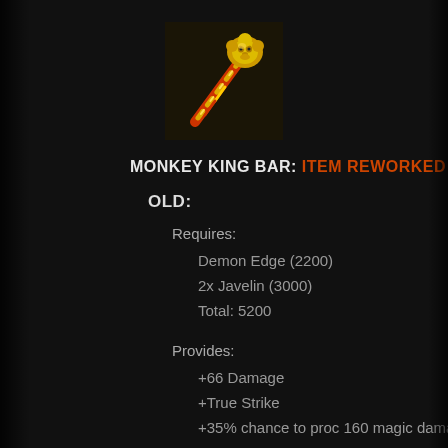[Figure (illustration): Monkey King Bar item icon — a golden staff with red spiral wrap, featuring a golden lion/monkey face at the top, on a dark background.]
MONKEY KING BAR: ITEM REWORKED
OLD:
Requires:
Demon Edge (2200)
2x Javelin (3000)
Total: 5200
Provides:
+66 Damage
+True Strike
+35% chance to proc 160 magic damage